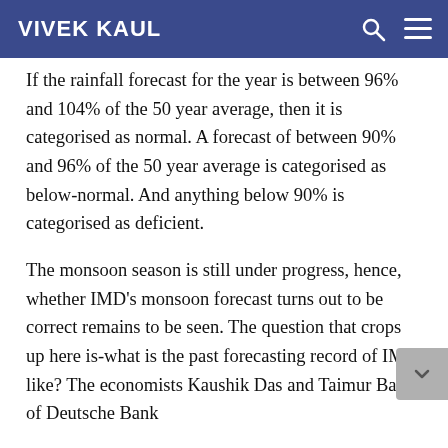VIVEK KAUL
If the rainfall forecast for the year is between 96% and 104% of the 50 year average, then it is categorised as normal. A forecast of between 90% and 96% of the 50 year average is categorised as below-normal. And anything below 90% is categorised as deficient.
The monsoon season is still under progress, hence, whether IMD’s monsoon forecast turns out to be correct remains to be seen. The question that crops up here is-what is the past forecasting record of IMD like? The economists Kaushik Das and Taimur Baig of Deutsche Bank